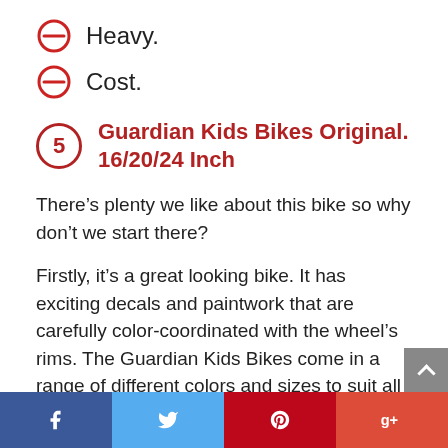Heavy.
Cost.
5 Guardian Kids Bikes Original. 16/20/24 Inch
There’s plenty we like about this bike so why don’t we start there?
Firstly, it’s a great looking bike. It has exciting decals and paintwork that are carefully color-coordinated with the wheel’s rims. The Guardian Kids Bikes come in a range of different colors and sizes to suit all tastes and ages.
Facebook Twitter Pinterest Google+